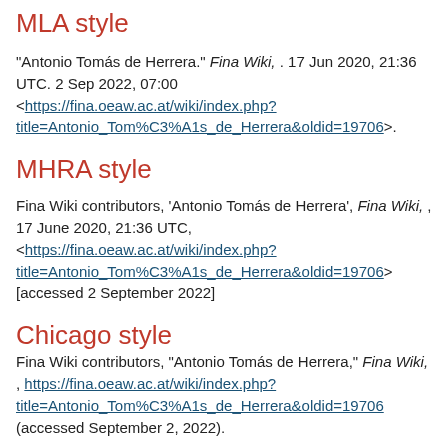MLA style
"Antonio Tomás de Herrera." Fina Wiki, . 17 Jun 2020, 21:36 UTC. 2 Sep 2022, 07:00 <https://fina.oeaw.ac.at/wiki/index.php?title=Antonio_Tom%C3%A1s_de_Herrera&oldid=19706>.
MHRA style
Fina Wiki contributors, 'Antonio Tomás de Herrera', Fina Wiki, , 17 June 2020, 21:36 UTC, <https://fina.oeaw.ac.at/wiki/index.php?title=Antonio_Tom%C3%A1s_de_Herrera&oldid=19706> [accessed 2 September 2022]
Chicago style
Fina Wiki contributors, "Antonio Tomás de Herrera," Fina Wiki, , https://fina.oeaw.ac.at/wiki/index.php?title=Antonio_Tom%C3%A1s_de_Herrera&oldid=19706 (accessed September 2, 2022).